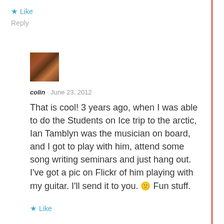★ Like
Reply
[Figure (photo): Small square avatar thumbnail showing a guitar, brownish/dark tones]
colin · June 23, 2012
That is cool! 3 years ago, when I was able to do the Students on Ice trip to the arctic, Ian Tamblyn was the musician on board, and I got to play with him, attend some song writing seminars and just hang out. I've got a pic on Flickr of him playing with my guitar. I'll send it to you. 🙂 Fun stuff.
★ Like